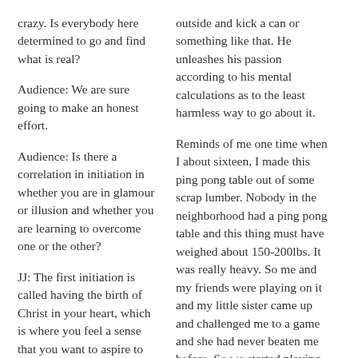crazy. Is everybody here determined to go and find what is real?
Audience: We are sure going to make an honest effort.
Audience: Is there a correlation in initiation in whether you are in glamour or illusion and whether you are learning to overcome one or the other?
JJ: The first initiation is called having the birth of Christ in your heart, which is where you feel a sense that you want to aspire to find out who and what God is and what your purpose is in relation to God and you are sincerely on this path. Many religious and new
outside and kick a can or something like that. He unleashes his passion according to his mental calculations as to the least harmless way to go about it.
Reminds of me one time when I about sixteen, I made this ping pong table out of some scrap lumber. Nobody in the neighborhood had a ping pong table and this thing must have weighed about 150-200lbs. It was really heavy. So me and my friends were playing on it and my little sister came up and challenged me to a game and she had never beaten me before. So we started playing and the score was 13 to 20 in my favor and we played the